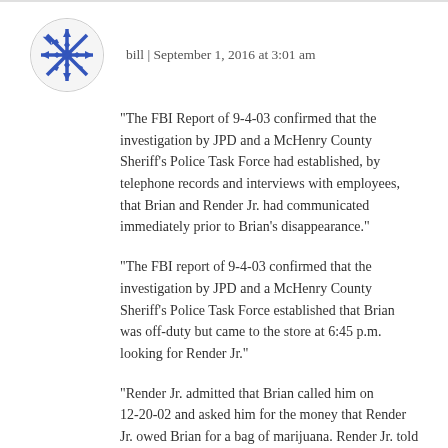[Figure (illustration): Blue snowflake/geometric avatar icon in a circular frame]
bill | September 1, 2016 at 3:01 am
“The FBI Report of 9-4-03 confirmed that the investigation by JPD and a McHenry County Sheriff’s Police Task Force had established, by telephone records and interviews with employees, that Brian and Render Jr. had communicated immediately prior to Brian’s disappearance.”
“The FBI report of 9-4-03 confirmed that the investigation by JPD and a McHenry County Sheriff’s Police Task Force established that Brian was off-duty but came to the store at 6:45 p.m. looking for Render Jr.”
“Render Jr. admitted that Brian called him on 12-20-02 and asked him for the money that Render Jr. owed Brian for a bag of marijuana. Render Jr. told him that he could not give him the money.”